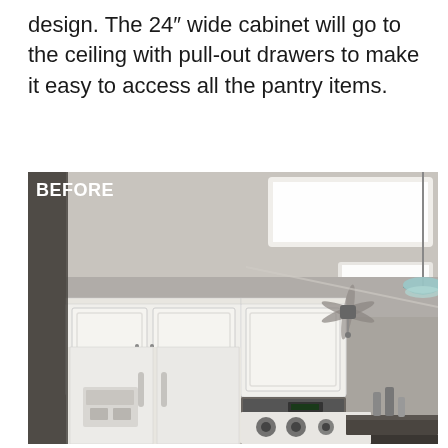design. The 24" wide cabinet will go to the ceiling with pull-out drawers to make it easy to access all the pantry items.
[Figure (photo): A 'BEFORE' photo of a kitchen interior showing white cabinets that do not reach the ceiling, a white side-by-side refrigerator with an ice/water dispenser, a white gas range with a microwave above it, dark tile backsplash, a ceiling fan, a pendant light, and a kitchen island with a dark countertop. The space between the top of the cabinets and the ceiling is visible.]